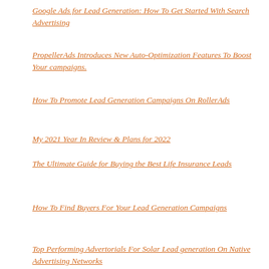Google Ads for Lead Generation: How To Get Started With Search Advertising
PropellerAds Introduces New Auto-Optimization Features To Boost Your campaigns.
How To Promote Lead Generation Campaigns On RollerAds
My 2021 Year In Review & Plans for 2022
The Ultimate Guide for Buying the Best Life Insurance Leads
How To Find Buyers For Your Lead Generation Campaigns
Top Performing Advertorials For Solar Lead generation On Native Advertising Networks